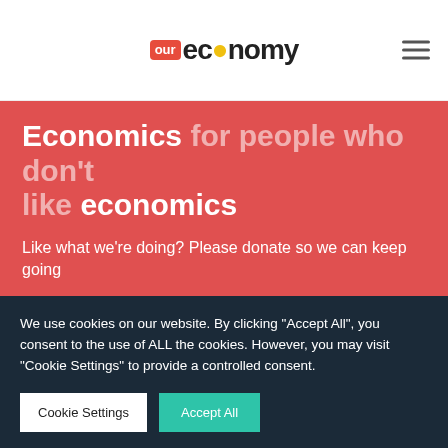our economy — logo and navigation
Economics for people who don't like economics
Like what we're doing? Please donate so we can keep going
Donate
We use cookies on our website. By clicking "Accept All", you consent to the use of ALL the cookies. However, you may visit "Cookie Settings" to provide a controlled consent.
Cookie Settings
Accept All